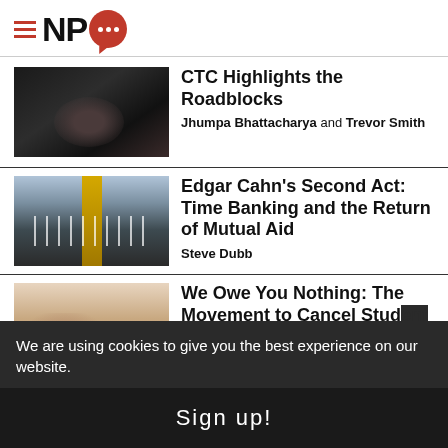[Figure (logo): NPQ (Nonprofit Quarterly) logo with hamburger menu icon and red speech bubble]
CTC Highlights the Roadblocks
Jhumpa Bhattacharya and Trevor Smith
[Figure (photo): Dark image of hands]
Edgar Cahn’s Second Act: Time Banking and the Return of Mutual Aid
Steve Dubb
[Figure (photo): Street with arrows painted on road]
We Owe You Nothing: The Movement to Cancel Student...
[Figure (photo): Hands/beige background image]
We are using cookies to give you the best experience on our website.
Sign up!